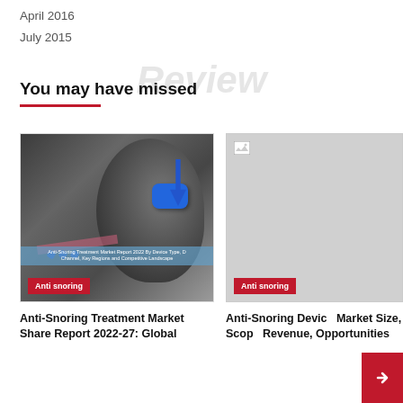April 2016
July 2015
You may have missed
[Figure (photo): Anti-snoring treatment device illustration showing airway diagram with blue device and arrows indicating treatment mechanism. Caption badge reads 'Anti snoring'. Image includes text: 'Anti-Snoring Treatment Market Report 2022 By Device Type, Distribution Channel, Key Regions and Competitive Landscape']
[Figure (photo): Placeholder image (broken/loading image icon) with grey background. Badge reads 'Anti snoring'.]
Anti-Snoring Treatment Market Share Report 2022-27: Global
Anti-Snoring Device Market Size, Scope Revenue, Opportunities